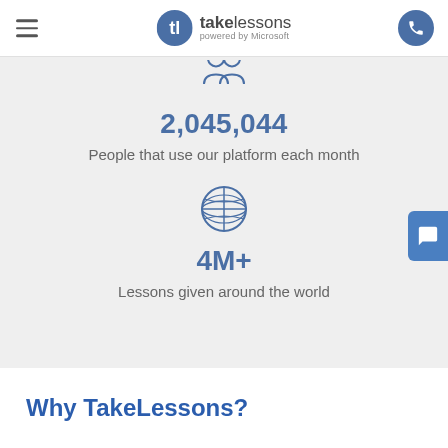takelessons powered by Microsoft
[Figure (infographic): Person/group icon at top of stat section]
2,045,044
People that use our platform each month
[Figure (infographic): Globe/world icon]
4M+
Lessons given around the world
Why TakeLessons?